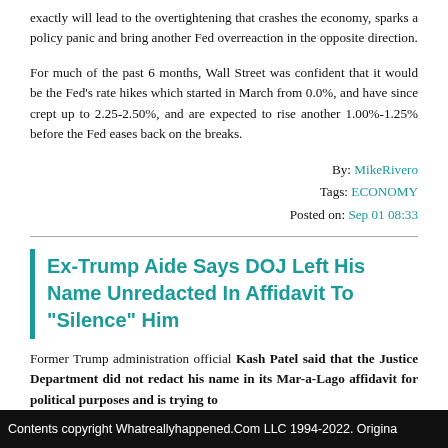exactly will lead to the overtightening that crashes the economy, sparks a policy panic and bring another Fed overreaction in the opposite direction.
For much of the past 6 months, Wall Street was confident that it would be the Fed's rate hikes which started in March from 0.0%, and have since crept up to 2.25-2.50%, and are expected to rise another 1.00%-1.25% before the Fed eases back on the breaks.
By: MikeRivero
Tags: ECONOMY
Posted on: Sep 01 08:33
Ex-Trump Aide Says DOJ Left His Name Unredacted In Affidavit To "Silence" Him
Former Trump administration official Kash Patel said that the Justice Department did not redact his name in its Mar-a-Lago affidavit for political purposes and is trying to
Contents copyright Whatreallyhappened.Com LLC 1994-2022. Origina